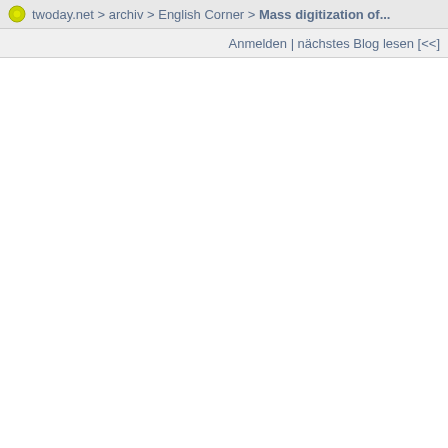twoday.net > archiv > English Corner > Mass digitization of...
Anmelden | nächstes Blog lesen [<<]